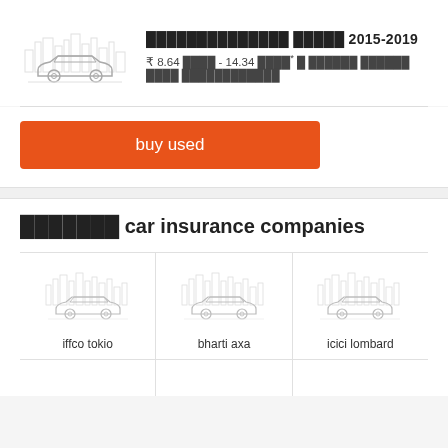[Figure (illustration): Car with city skyline background watermark illustration]
██████████████ ████ 2015-2019
₹ 8.64 ████ - 14.34 ████* █ ██████ ██████ ████ ████████████
buy used
███████ car insurance companies
[Figure (illustration): iffco tokio - car with city skyline illustration]
iffco tokio
[Figure (illustration): bharti axa - car with city skyline illustration]
bharti axa
[Figure (illustration): icici lombard - car with city skyline illustration]
icici lombard